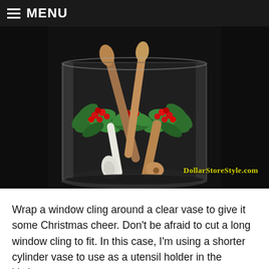MENU
[Figure (photo): A clear cylindrical glass vase decorated with a Christmas holly window cling showing green holly leaves and red berries. The vase holds wooden kitchen utensils including spoons. The watermark 'DollarStoreStyle.com' appears in yellow text at the bottom right of the image.]
Wrap a window cling around a clear vase to give it some Christmas cheer. Don't be afraid to cut a long window cling to fit. In this case, I'm using a shorter cylinder vase to use as a utensil holder in the kitchen.